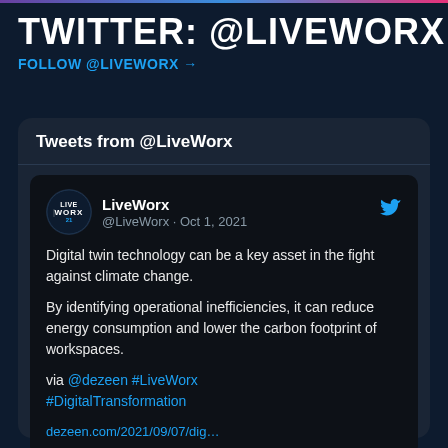TWITTER: @LIVEWORX
FOLLOW @LIVEWORX →
Tweets from @LiveWorx
[Figure (screenshot): LiveWorx Twitter profile avatar - circular logo with WORX21 text on dark background]
LiveWorx @LiveWorx · Oct 1, 2021
Digital twin technology can be a key asset in the fight against climate change.

By identifying operational inefficiencies, it can reduce energy consumption and lower the carbon footprint of workspaces.

via @dezeen #LiveWorx #DigitalTransformation

dezeen.com/2021/09/07/dig…